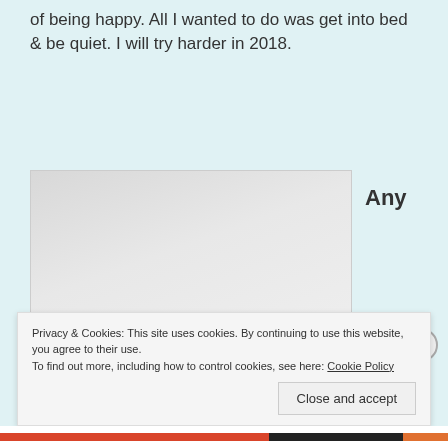of being happy. All I wanted to do was get into bed & be quiet. I will try harder in 2018.
[Figure (photo): An image with text overlay reading 'My alone time is sometimes for your safety.']
Any
Privacy & Cookies: This site uses cookies. By continuing to use this website, you agree to their use. To find out more, including how to control cookies, see here: Cookie Policy
Close and accept